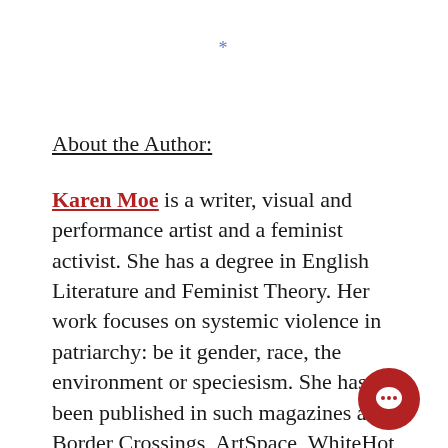*
About the Author:
Karen Moe is a writer, visual and performance artist and a feminist activist. She has a degree in English Literature and Feminist Theory. Her work focuses on systemic violence in patriarchy: be it gender, race, the environment or speciesism. She has been published in such magazines as Border Crossings, ArtSpace, WhiteHot and Revista 192. She is the editor and founder of this magazine Vigilance: Fierce Feminisms. Karen has exhibited and performed across